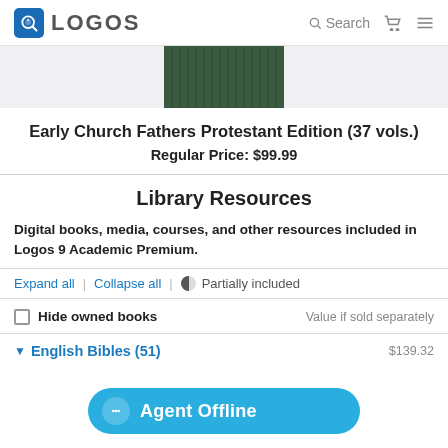LOGOS | Search
[Figure (photo): Partial view of a dark green book spine/cover (Early Church Fathers Protestant Edition)]
Early Church Fathers Protestant Edition (37 vols.)
Regular Price: $99.99
Library Resources
Digital books, media, courses, and other resources included in Logos 9 Academic Premium.
Expand all | Collapse all | Partially included
Hide owned books    Value if sold separately
English Bibles (51)    $139.32
[Figure (screenshot): Agent Offline chat button overlay in blue]